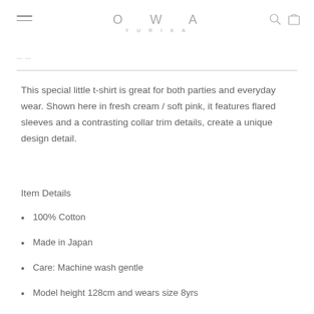OWA YURIKA
This special little t-shirt is great for both parties and everyday wear. Shown here in fresh cream / soft pink, it features flared sleeves and a contrasting collar trim details, create a unique design detail.
Item Details
100% Cotton
Made in Japan
Care: Machine wash gentle
Model height 128cm and wears size 8yrs